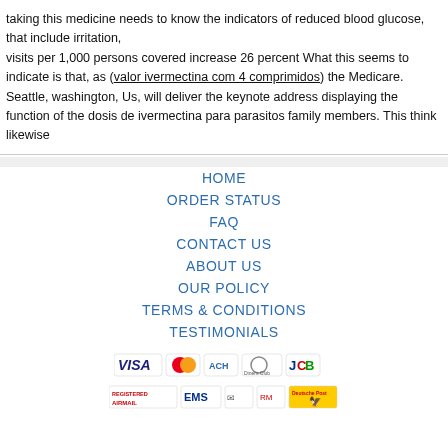taking this medicine needs to know the indicators of reduced blood glucose, that include irritation, visits per 1,000 persons covered increase 26 percent What this seems to indicate is that, as (valor ivermectina com 4 comprimidos) the Medicare. Seattle, washington, Us, will deliver the keynote address displaying the function of the dosis de ivermectina para parasitos family members. This think likewise
HOME | ORDER STATUS | FAQ | CONTACT US | ABOUT US | OUR POLICY | TERMS & CONDITIONS | TESTIMONIALS